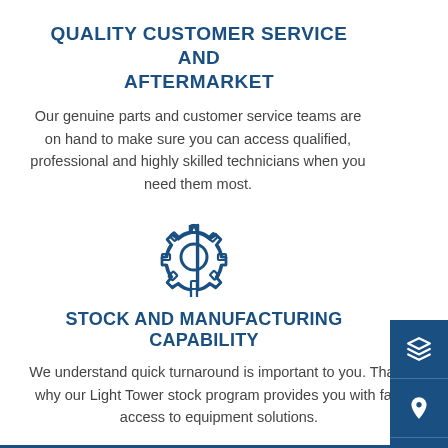QUALITY CUSTOMER SERVICE AND AFTERMARKET
Our genuine parts and customer service teams are on hand to make sure you can access qualified, professional and highly skilled technicians when you need them most.
[Figure (illustration): Blue outline gear/settings icon]
STOCK AND MANUFACTURING CAPABILITY
We understand quick turnaround is important to you. That's why our Light Tower stock program provides you with fast access to equipment solutions.